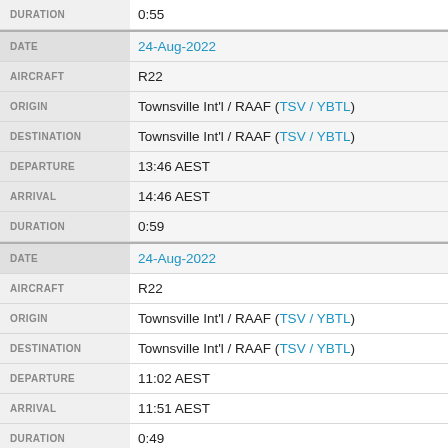| Field | Value |
| --- | --- |
| DURATION | 0:55 |
| DATE | 24-Aug-2022 |
| AIRCRAFT | R22 |
| ORIGIN | Townsville Int'l / RAAF (TSV / YBTL) |
| DESTINATION | Townsville Int'l / RAAF (TSV / YBTL) |
| DEPARTURE | 13:46 AEST |
| ARRIVAL | 14:46 AEST |
| DURATION | 0:59 |
| DATE | 24-Aug-2022 |
| AIRCRAFT | R22 |
| ORIGIN | Townsville Int'l / RAAF (TSV / YBTL) |
| DESTINATION | Townsville Int'l / RAAF (TSV / YBTL) |
| DEPARTURE | 11:02 AEST |
| ARRIVAL | 11:51 AEST |
| DURATION | 0:49 |
| DATE | 24-Aug-2022 |
| AIRCRAFT | R22 |
| ORIGIN | Townsville Int'l / RAAF (TSV / YBTL) |
| DESTINATION | Townsville Int'l / RAAF (TSV / YBTL) |
| DEPARTURE | 09:20 AEST |
| ARRIVAL | 10:35 AEST |